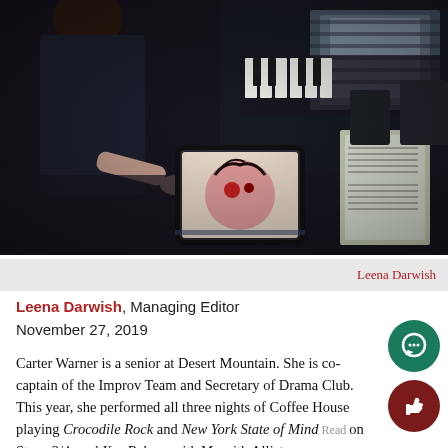[Figure (photo): Dark backstage/theater scene with a person in a dark t-shirt at the left and another person in the background near what appears to be a piano or desk, with a tablet/screen visible showing colorful artwork]
Leena Darwish
Leena Darwish, Managing Editor
November 27, 2019
Carter Warner is a senior at Desert Mountain. She is co-captain of the Improv Team and Secretary of Drama Club. This year, she performed all three nights of Coffee House playing Crocodile Rock and New York State of Mind on Stage 3/4, and You Belong with Me with Alli...